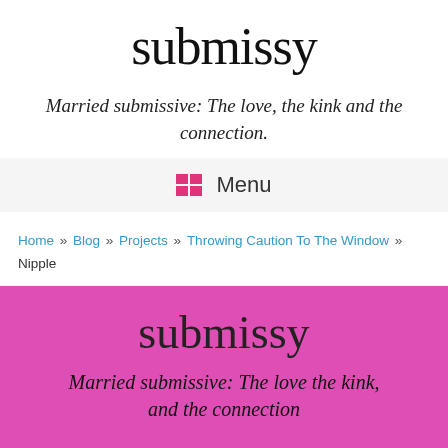submissy
Married submissive: The love, the kink and the connection.
Menu
Home » Blog » Projects » Throwing Caution To The Window » Nipple
[Figure (illustration): Pink banner with cursive 'submissy' logo and italic text 'Married submissive: The love the kink, and the connection' on a hot pink background]